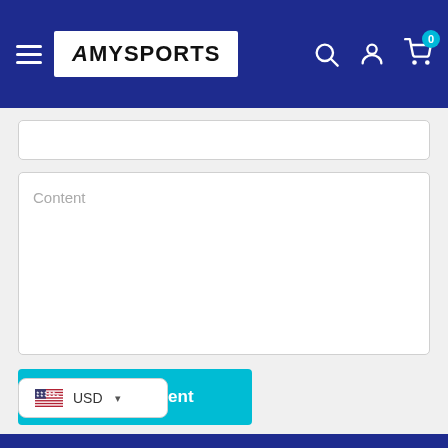[Figure (screenshot): AmySports e-commerce website navigation bar with hamburger menu, logo, search icon, account icon, and cart icon with badge showing 0]
Content
Post comment
USD